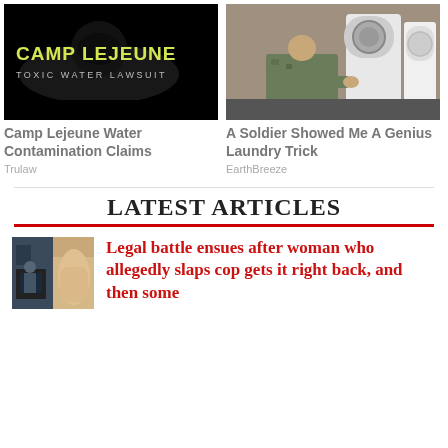[Figure (photo): Camp Lejeune Toxic Water Lawsuit advertisement banner with yellow text on black background]
Camp Lejeune Water Contamination Claims
Trulaw
[Figure (photo): A soldier in camouflage uniform kneeling in front of washing machines, performing laundry]
A Soldier Showed Me A Genius Laundry Trick
EarthBreeze
LATEST ARTICLES
[Figure (photo): Small thumbnail image showing two panels - left dark scene and right showing a person's arm/hand]
Legal battle ensues after woman who allegedly slaps cop gets it right back, and then some